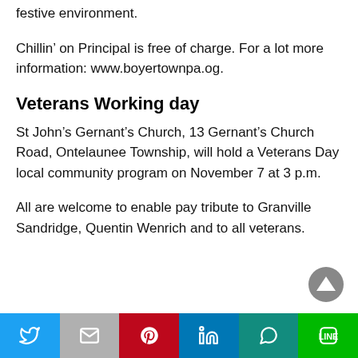festive environment.
Chillin’ on Principal is free of charge. For a lot more information: www.boyertownpa.og.
Veterans Working day
St John’s Gernant’s Church, 13 Gernant’s Church Road, Ontelaunee Township, will hold a Veterans Day local community program on November 7 at 3 p.m.
All are welcome to enable pay tribute to Granville Sandridge, Quentin Wenrich and to all veterans.
[Figure (infographic): Social media share bar with buttons for Twitter, Gmail, Pinterest, LinkedIn, WhatsApp, and Line]